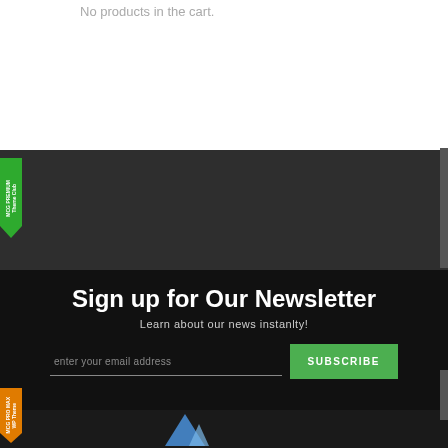No products in the cart.
[Figure (screenshot): Green MCG Premium badge on left side of dark mid section]
Sign up for Our Newsletter
Learn about our news instanlty!
[Figure (screenshot): Email input field with placeholder 'enter your email address' and green SUBSCRIBE button]
[Figure (screenshot): Orange MCG Pro Max badge on left side of bottom section]
[Figure (illustration): Dark footer area with mountain/triangle logo icon]